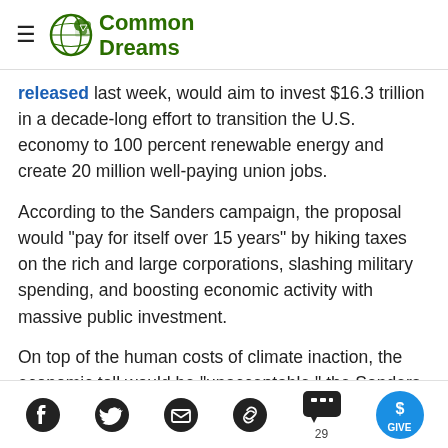Common Dreams
released last week, would aim to invest $16.3 trillion in a decade-long effort to transition the U.S. economy to 100 percent renewable energy and create 20 million well-paying union jobs.
According to the Sanders campaign, the proposal would "pay for itself over 15 years" by hiking taxes on the rich and large corporations, slashing military spending, and boosting economic activity with massive public investment.
On top of the human costs of climate inaction, the economic toll would be "unacceptable," the Sanders
Social share icons: Facebook, Twitter, Email, Link, Comments (29), Give